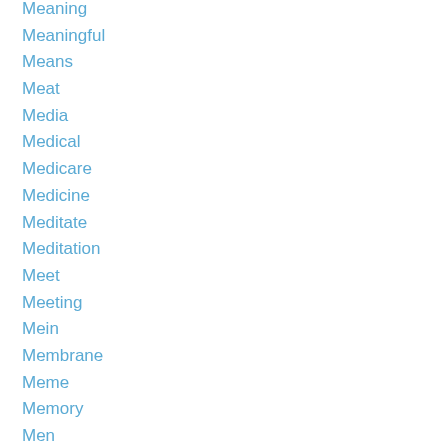Meaning
Meaningful
Means
Meat
Media
Medical
Medicare
Medicine
Meditate
Meditation
Meet
Meeting
Mein
Membrane
Meme
Memory
Men
Mercy
Meridian
Mesozoic
Metro